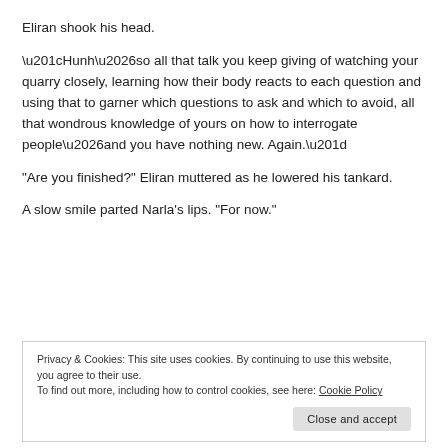Eliran shook his head.
“Hunh…so all that talk you keep giving of watching your quarry closely, learning how their body reacts to each question and using that to garner which questions to ask and which to avoid, all that wondrous knowledge of yours on how to interrogate people…and you have nothing new. Again.”
“Are you finished?” Eliran muttered as he lowered his tankard.
A slow smile parted Narla’s lips. “For now.”
Privacy & Cookies: This site uses cookies. By continuing to use this website, you agree to their use.
To find out more, including how to control cookies, see here: Cookie Policy
Close and accept